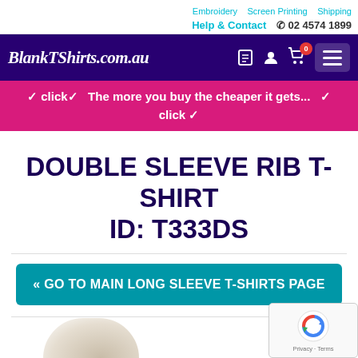Embroidery  Screen Printing  Shipping
Help & Contact  ☎ 02 4574 1899
[Figure (screenshot): BlankTShirts.com.au website header with logo, navigation icons (orders, account, cart with 0 badge), and hamburger menu on dark purple background]
✔ click ✔  The more you buy the cheaper it gets...  ✔
click ✔
DOUBLE SLEEVE RIB T-SHIRT ID: T333DS
<< GO TO MAIN LONG SLEEVE T-SHIRTS PAGE
[Figure (photo): Partial view of a model wearing a t-shirt, visible at bottom of page]